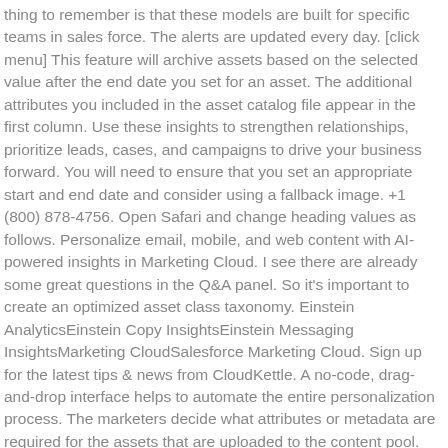thing to remember is that these models are built for specific teams in sales force. The alerts are updated every day. [click menu] This feature will archive assets based on the selected value after the end date you set for an asset. The additional attributes you included in the asset catalog file appear in the first column. Use these insights to strengthen relationships, prioritize leads, cases, and campaigns to drive your business forward. You will need to ensure that you set an appropriate start and end date and consider using a fallback image. +1 (800) 878-4756. Open Safari and change heading values as follows. Personalize email, mobile, and web content with AI-powered insights in Marketing Cloud. I see there are already some great questions in the Q&A panel. So it's important to create an optimized asset class taxonomy. Einstein AnalyticsEinstein Copy InsightsEinstein Messaging InsightsMarketing CloudSalesforce Marketing Cloud. Sign up for the latest tips & news from CloudKettle. A no-code, drag-and-drop interface helps to automate the entire personalization process. The marketers decide what attributes or metadata are required for the assets that are uploaded to the content pool. And Einstein continuously tracks the asset selections and related clicks, which allows the model to optimize in real-time. For example, perhaps you want to use an exclusion rule to suppress offers to